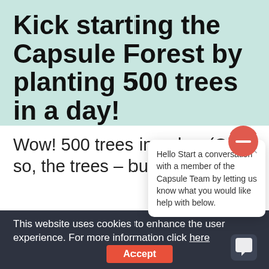Kick starting the Capsule Forest by planting 500 trees in a day!
Wow! 500 trees in a day. (Ok so, the trees – but hop
[Figure (screenshot): Chat popup overlay with red circle icon showing minus sign, close X button, and text: Hello Start a conversation with a member of the Capsule Team by letting us know what you would like help with below.]
This website uses cookies to enhance the user experience. For more information click here
Accept